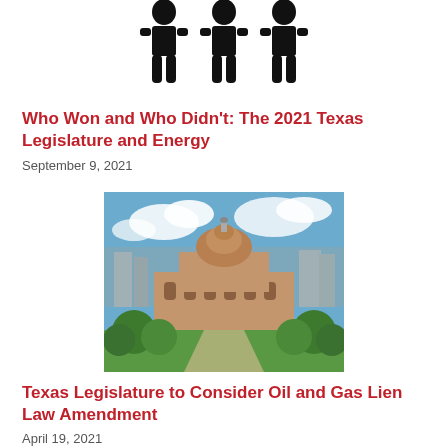[Figure (illustration): Three black silhouette icons of people (figures) in a row, representing individuals or legislators]
Who Won and Who Didn't: The 2021 Texas Legislature and Energy
September 9, 2021
[Figure (photo): Aerial photograph of the Texas State Capitol building in Austin, TX, with blue sky, trees, and surrounding cityscape]
Texas Legislature to Consider Oil and Gas Lien Law Amendment
April 19, 2021